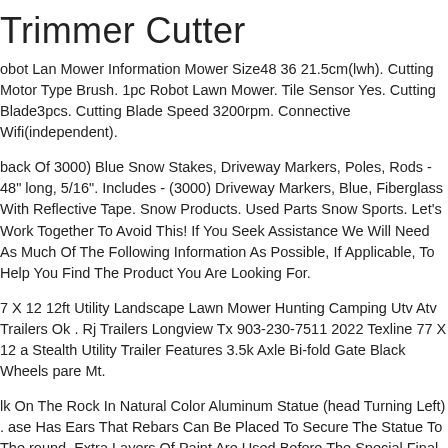Trimmer Cutter
obot Lan Mower Information Mower Size48 36 21.5cm(lwh). Cutting Motor Type Brush. 1pc Robot Lawn Mower. Tile Sensor Yes. Cutting Blade3pcs. Cutting Blade Speed 3200rpm. Connective Wifi(independent).
back Of 3000) Blue Snow Stakes, Driveway Markers, Poles, Rods - 48" long, 5/16". Includes - (3000) Driveway Markers, Blue, Fiberglass With Reflective Tape. Snow Products. Used Parts Snow Sports. Let's Work Together To Avoid This! If You Seek Assistance We Will Need As Much Of The Following Information As Possible, If Applicable, To Help You Find The Product You Are Looking For.
7 X 12 12ft Utility Landscape Lawn Mower Hunting Camping Utv Atv Trailers Ok . Rj Trailers Longview Tx 903-230-7511 2022 Texline 77 X 12 a Stealth Utility Trailer Features 3.5k Axle Bi-fold Gate Black Wheels pare Mt.
lk On The Rock In Natural Color Aluminum Statue (head Turning Left) . ase Has Ears That Rebars Can Be Placed To Secure The Statue To The round. Extra Layers Of Paint Are Used Before The Special Final Finishing ouch Which Makes The Paint On The Statues Lasts Longer And